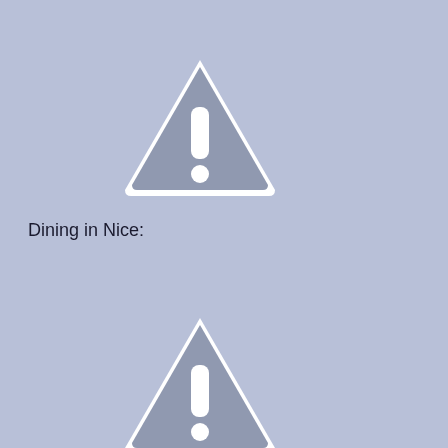[Figure (illustration): Warning triangle icon with exclamation mark, gray fill with white border and white exclamation point]
Dining in Nice:
[Figure (illustration): Warning triangle icon with exclamation mark, gray fill with white border and white exclamation point]